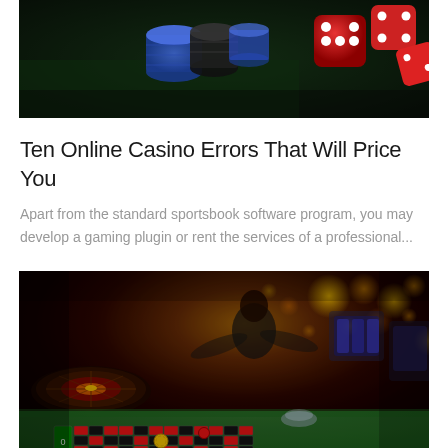[Figure (photo): Casino chips stacked (blue, black, red) with red dice scattered on a dark green felt surface, viewed from above/angle, dark background]
Ten Online Casino Errors That Will Price You
Apart from the standard sportsbook software program, you may develop a gaming plugin or rent the services of a professional...
[Figure (photo): Blurred casino interior at night showing roulette table with green felt, casino chips, slot machines in background with warm golden bokeh lights, dark atmospheric ambiance]